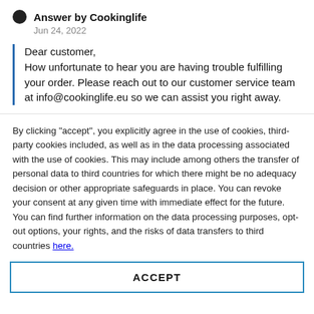Answer by Cookinglife
Jun 24, 2022
Dear customer,
How unfortunate to hear you are having trouble fulfilling your order. Please reach out to our customer service team at info@cookinglife.eu so we can assist you right away.
By clicking "accept", you explicitly agree in the use of cookies, third-party cookies included, as well as in the data processing associated with the use of cookies. This may include among others the transfer of personal data to third countries for which there might be no adequacy decision or other appropriate safeguards in place. You can revoke your consent at any given time with immediate effect for the future. You can find further information on the data processing purposes, opt-out options, your rights, and the risks of data transfers to third countries here.
ACCEPT